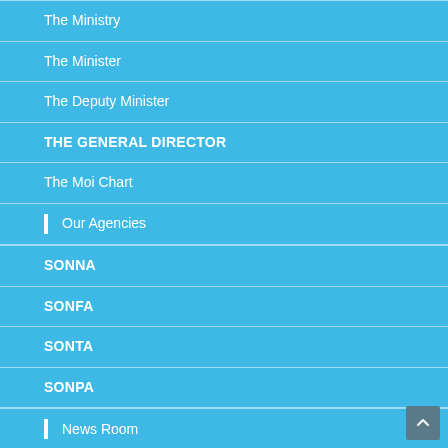The Ministry
The Minister
The Deputy Minister
THE GENERAL DIRECTOR
The Moi Chart
Our Agencies
SONNA
SONFA
SONTA
SONPA
News Room